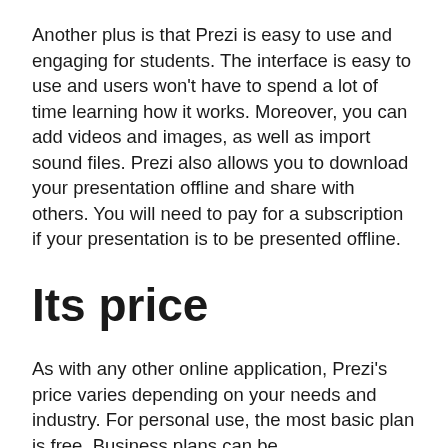Another plus is that Prezi is easy to use and engaging for students. The interface is easy to use and users won't have to spend a lot of time learning how it works. Moreover, you can add videos and images, as well as import sound files. Prezi also allows you to download your presentation offline and share with others. You will need to pay for a subscription if your presentation is to be presented offline.
Its price
As with any other online application, Prezi's price varies depending on your needs and industry. For personal use, the most basic plan is free. Business plans can be